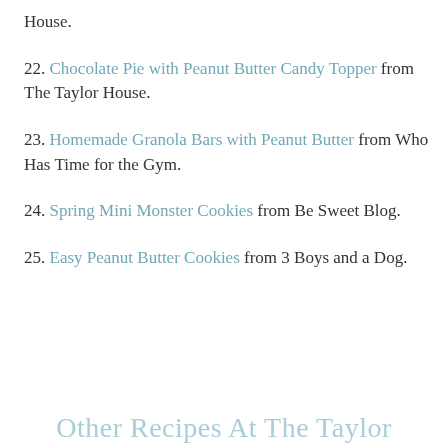House.
22. Chocolate Pie with Peanut Butter Candy Topper from The Taylor House.
23. Homemade Granola Bars with Peanut Butter from Who Has Time for the Gym.
24. Spring Mini Monster Cookies from Be Sweet Blog.
25. Easy Peanut Butter Cookies from 3 Boys and a Dog.
Other Recipes At The Taylor